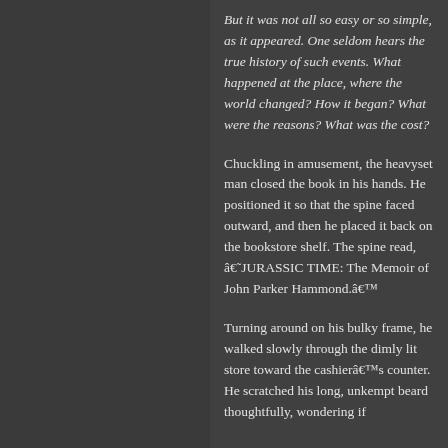But it was not all so easy or so simple, as it appeared. One seldom hears the true history of such events. What happened at the place, where the world changed? How it began? What were the reasons? What was the cost?
Chuckling in amusement, the heavyset man closed the book in his hands. He positioned it so that the spine faced outward, and then he placed it back on the bookstore shelf. The spine read, â€˜JURASSIC TIME: The Memoir of John Parker Hammond.â€™
Turning around on his bulky frame, he walked slowly through the dimly lit store toward the cashierâ€™s counter. He scratched his long, unkempt beard thoughtfully, wondering if